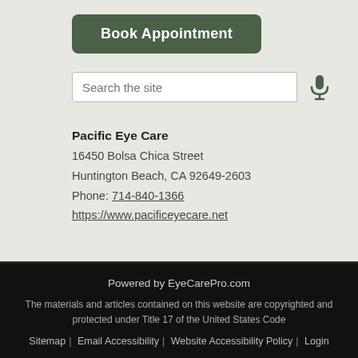Book Appointment
Search the site
Pacific Eye Care
16450 Bolsa Chica Street
Huntington Beach, CA 92649-2603
Phone: 714-840-1366
https://www.pacificeyecare.net
Powered by EyeCarePro.com
The materials and articles contained on this website are copyrighted and protected under Title 17 of the United States Code
Sitemap | Email Accessibility | Website Accessibility Policy | Login